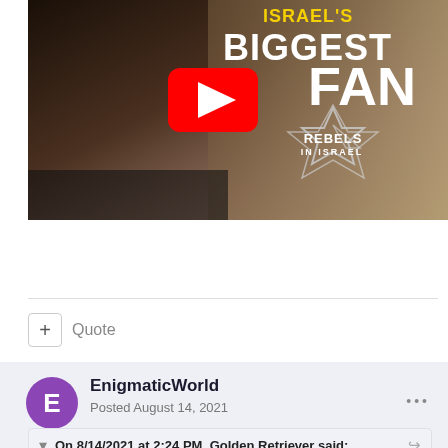[Figure (screenshot): YouTube video thumbnail showing a woman speaking into a microphone, with text 'BIGGEST FAN', 'REBELS IN ISRAEL' on a star shape, and a YouTube play button in the center.]
Quote
EnigmaticWorld
Posted August 14, 2021
On 8/14/2021 at 2:24 PM, Golden Retriever said: